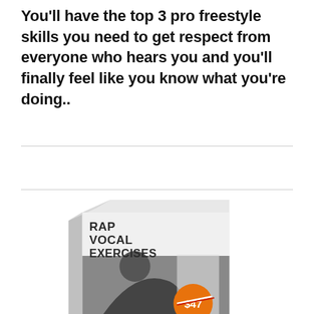You'll have the top 3 pro freestyle skills you need to get respect from everyone who hears you and you'll finally feel like you know what you're doing..
[Figure (illustration): Product box for 'RAP VOCAL EXERCISES' with a grayscale photo of a person and an orange price badge showing '$47' with a strikethrough]